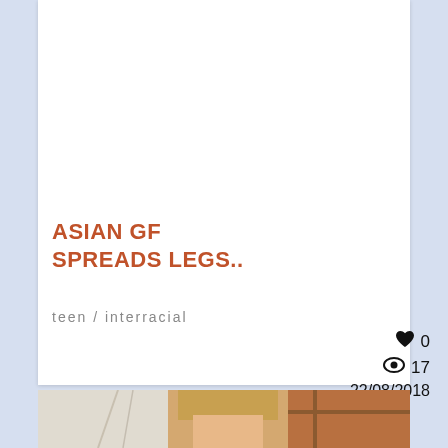ASIAN GF SPREADS LEGS..
teen / interracial
♥ 0  👁 17  22/08/2018
[Figure (photo): Partial photo of a young blonde woman visible at the bottom of the page]